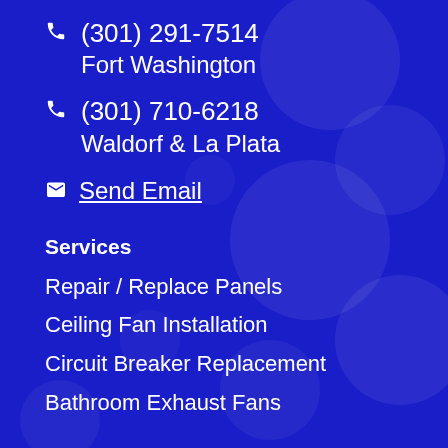(301) 291-7514
Fort Washington
(301) 710-6218
Waldorf & La Plata
Send Email
Services
Repair / Replace Panels
Ceiling Fan Installation
Circuit Breaker Replacement
Bathroom Exhaust Fans